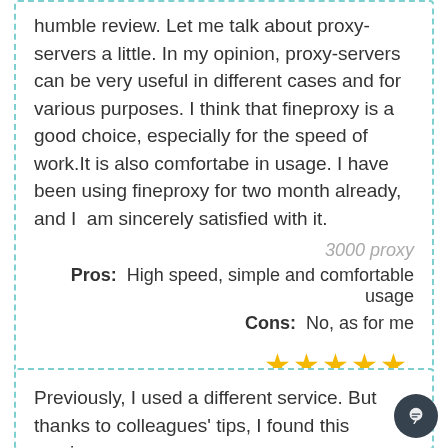humble review. Let me talk about proxy-servers a little. In my opinion, proxy-servers can be very useful in different cases and for various purposes. I think that fineproxy is a good choice, especially for the speed of work.It is also comfortabe in usage. I have been using fineproxy for two month already, and I am sincerely satisfied with it.
3000 proxy
Pros: High speed, simple and comfortable usage
Cons: No, as for me
[Figure (other): Five gold star rating]
Mike Miller
Previously, I used a different service. But thanks to colleagues' tips, I found this service.